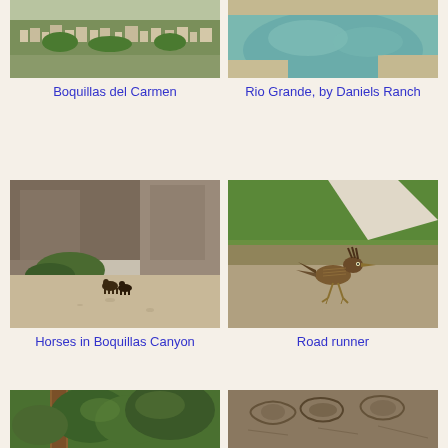[Figure (photo): Aerial/distant view of Boquillas del Carmen, a small town with buildings and greenery on hillside]
Boquillas del Carmen
[Figure (photo): Rio Grande river with green water, sandy banks near Daniels Ranch]
Rio Grande, by Daniels Ranch
[Figure (photo): Horses in Boquillas Canyon with tall rocky canyon walls and sandy dry riverbed]
Horses in Boquillas Canyon
[Figure (photo): Road runner bird standing on gravel path with green grass nearby]
Road runner
[Figure (photo): Partial view of tree and green vegetation, bottom of page]
[Figure (photo): Close-up of rock surface with engravings or petroglyphs, bottom of page]